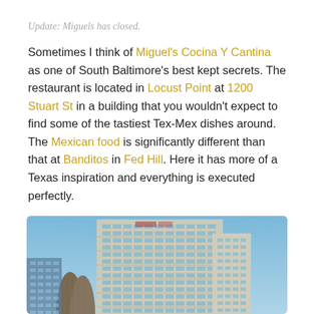Update: Miguels has closed.
Sometimes I think of Miguel's Cocina Y Cantina as one of South Baltimore's best kept secrets. The restaurant is located in Locust Point at 1200 Stuart St in a building that you wouldn't expect to find some of the tastiest Tex-Mex dishes around. The Mexican food is significantly different than that at Banditos in Fed Hill. Here it has more of a Texas inspiration and everything is executed perfectly.
[Figure (photo): Photograph of a modern high-rise building in Locust Point, Baltimore, with cylindrical grain silos visible on the left side, against a clear blue sky.]